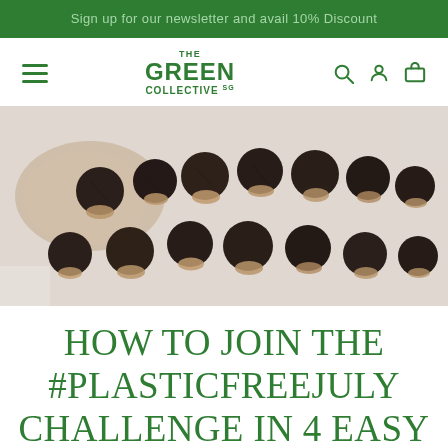Sign up for our newsletter and avail 10% Discount
[Figure (logo): The Green Collective SG logo with hamburger menu, search, account, and cart icons]
[Figure (photo): Overhead photo of dried soap nuts (soapberries) spilling out of a wooden scoop onto a white surface]
HOW TO JOIN THE #PLASTICFREEJULY CHALLENGE IN 4 EASY